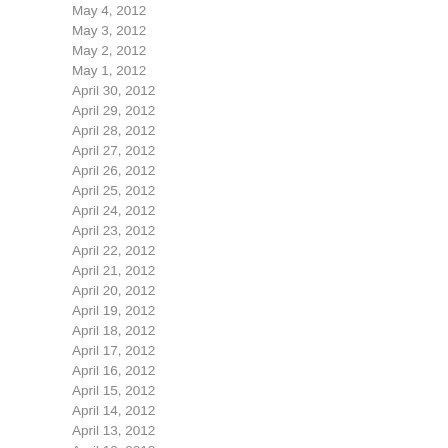| Date | Count |
| --- | --- |
| May 4, 2012 | 11 |
| May 3, 2012 | 8 |
| May 2, 2012 | 9 |
| May 1, 2012 | 12 |
| April 30, 2012 | 13 |
| April 29, 2012 | 8 |
| April 28, 2012 | 8 |
| April 27, 2012 | 11 |
| April 26, 2012 | 15 |
| April 25, 2012 | 8 |
| April 24, 2012 | 8 |
| April 23, 2012 | 12 |
| April 22, 2012 | 5 |
| April 21, 2012 | 5 |
| April 20, 2012 | 7 |
| April 19, 2012 | 10 |
| April 18, 2012 | 10 |
| April 17, 2012 | 2 |
| April 16, 2012 | 3 |
| April 15, 2012 | 10 |
| April 14, 2012 | 9 |
| April 13, 2012 | 6 |
| April 12, 2012 | 12 |
| April 11, 2012 | 8 |